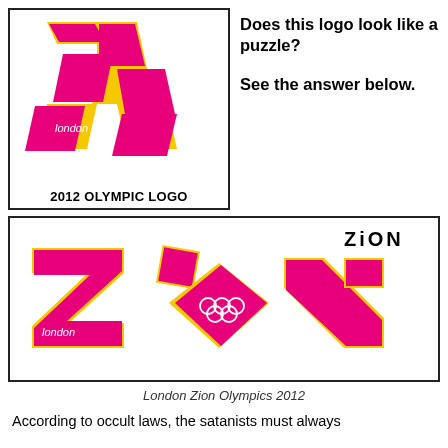[Figure (logo): 2012 London Olympic logo - pink/magenta geometric shapes forming '2012' with Olympic rings and 'london' text]
2012 OLYMPIC LOGO
Does this logo look like a puzzle?

See the answer below.
[Figure (logo): Rearranged 2012 London Olympic logo pieces spelling 'ZION' with 'ZiON' label, Olympic rings, and 'london' text]
London Zion Olympics 2012
According to occult laws, the satanists must always